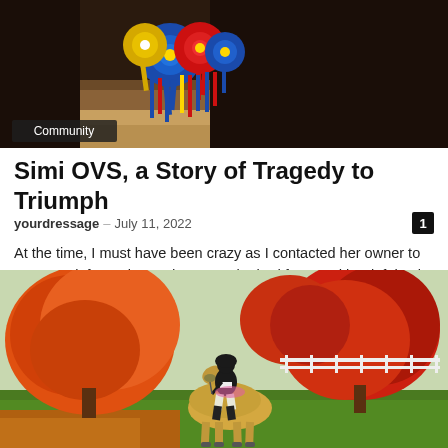[Figure (photo): Close-up photo of a dark horse with blue and red competition ribbons/rosettes hanging from its neck, taken in a stable or show environment.]
Community
Simi OVS, a Story of Tragedy to Triumph
yourdressage – July 11, 2022
At the time, I must have been crazy as I contacted her owner to get more information and x-rays. She had fractured her left hock, and although it was not a well-placed break, it was a clean break.
[Figure (photo): Photo of a rider on a light-colored (palomino) horse in a park or equestrian setting, surrounded by vibrant orange and red autumn foliage trees.]